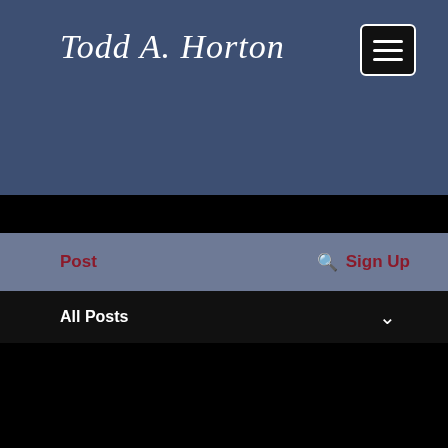Todd A. Horton
Post  Sign Up
All Posts
Todd Horton [admin] Dec 4, 2021 · 2 min
Chanukah Day 7 -